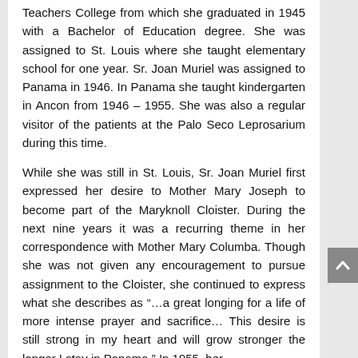Teachers College from which she graduated in 1945 with a Bachelor of Education degree. She was assigned to St. Louis where she taught elementary school for one year. Sr. Joan Muriel was assigned to Panama in 1946. In Panama she taught kindergarten in Ancon from 1946 – 1955. She was also a regular visitor of the patients at the Palo Seco Leprosarium during this time.
While she was still in St. Louis, Sr. Joan Muriel first expressed her desire to Mother Mary Joseph to become part of the Maryknoll Cloister. During the next nine years it was a recurring theme in her correspondence with Mother Mary Columba. Though she was not given any encouragement to pursue assignment to the Cloister, she continued to express what she describes as “…a great longing for a life of more intense prayer and sacrifice… This desire is still strong in my heart and will grow stronger the longer I stay in Panama.” In 1955, her